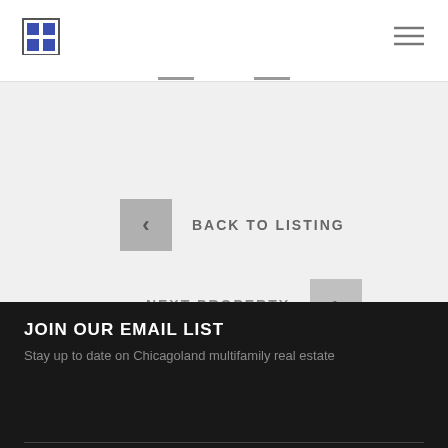[Figure (logo): Grid/table logo icon with blue squares]
[Figure (illustration): Hamburger menu icon (three horizontal lines)]
BACK TO LISTING
NEXT PROPERTY
JOIN OUR EMAIL LIST
Stay up to date on Chicagoland multifamily real estate
SIGN UP